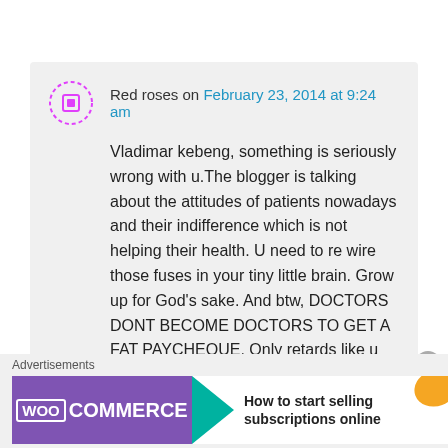Red roses on February 23, 2014 at 9:24 am
Vladimar kebeng, something is seriously wrong with u.The blogger is talking about the attitudes of patients nowadays and their indifference which is not helping their health. U need to re wire those fuses in your tiny little brain. Grow up for God's sake. And btw, DOCTORS DONT BECOME DOCTORS TO GET A FAT PAYCHEQUE. Only retards like u will do something like that.
Advertisements
[Figure (screenshot): WooCommerce advertisement banner: purple background with WooCommerce logo, teal arrow, text 'How to start selling subscriptions online', orange and teal decorative shapes on right]